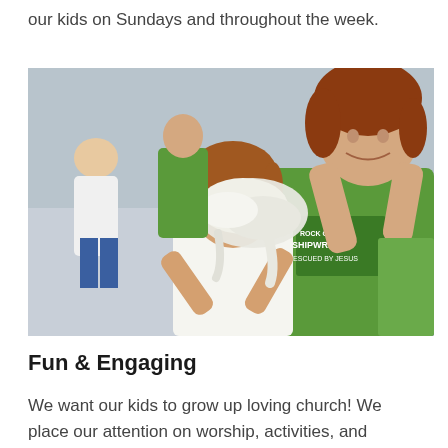our kids on Sundays and throughout the week.
[Figure (photo): A smiling young girl and a female volunteer in a green Rock Church 'Shipwrecked Rescued by Jesus' t-shirt playing with white fluffy slime/foam together in a classroom setting, with other children visible in the background.]
Fun & Engaging
We want our kids to grow up loving church! We place our attention on worship, activities, and lessons that will